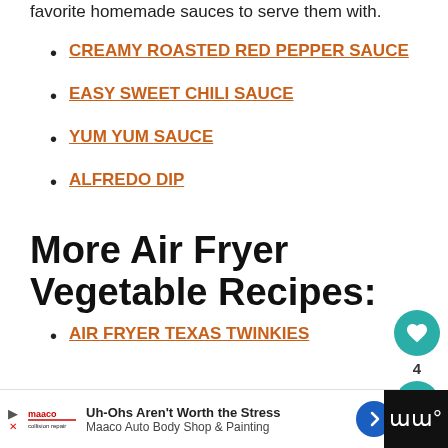favorite homemade sauces to serve them with.
CREAMY ROASTED RED PEPPER SAUCE
EASY SWEET CHILI SAUCE
YUM YUM SAUCE
ALFREDO DIP
More Air Fryer Vegetable Recipes:
AIR FRYER TEXAS TWINKIES